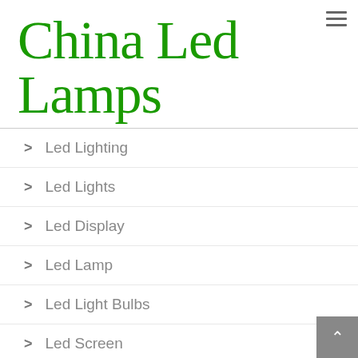China Led Lamps
Led Lighting
Led Lights
Led Display
Led Lamp
Led Light Bulbs
Led Screen
Reading Light